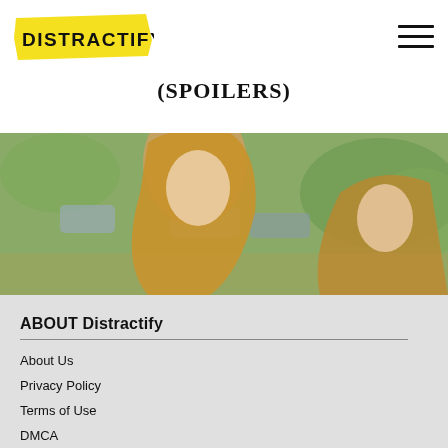Distractify
(SPOILERS)
[Figure (photo): Two young women with blonde hair outdoors, cars and green foliage in background]
ABOUT Distractify
About Us
Privacy Policy
Terms of Use
DMCA